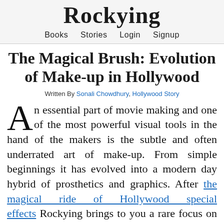Rockying
Books  Stories  Login  Signup
The Magical Brush: Evolution of Make-up in Hollywood
Written By Sonali Chowdhury, Hollywood Story
An essential part of movie making and one of the most powerful visual tools in the hand of the makers is the subtle and often underrated art of make-up. From simple beginnings it has evolved into a modern day hybrid of prosthetics and graphics. After the magical ride of Hollywood special effects Rockying brings to you a rare focus on the